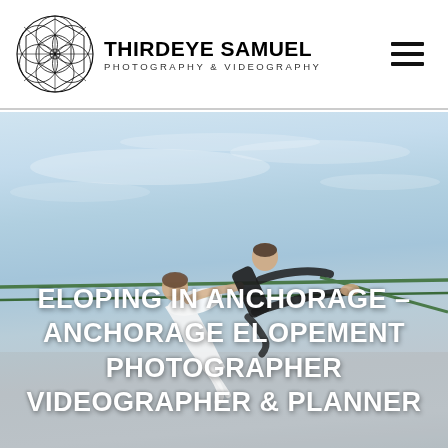ThirdEyeSamuel Photography & Videography
[Figure (photo): Couple balancing on a slackline/tight rope against a bright sky background. One person in white dress, other in black clothing. The image serves as hero banner for an elopement photography website.]
ELOPING IN ANCHORAGE – ANCHORAGE ELOPEMENT PHOTOGRAPHER VIDEOGRAPHER & PLANNER